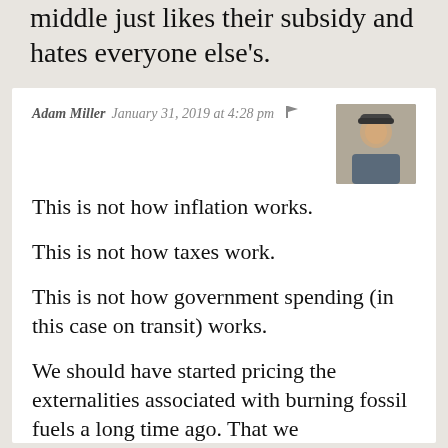middle just likes their subsidy and hates everyone else's.
Adam Miller  January 31, 2019 at 4:28 pm
This is not how inflation works.

This is not how taxes work.

This is not how government spending (in this case on transit) works.

We should have started pricing the externalities associated with burning fossil fuels a long time ago. That we